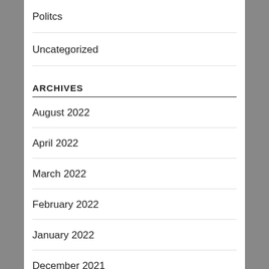Politcs
Uncategorized
ARCHIVES
August 2022
April 2022
March 2022
February 2022
January 2022
December 2021